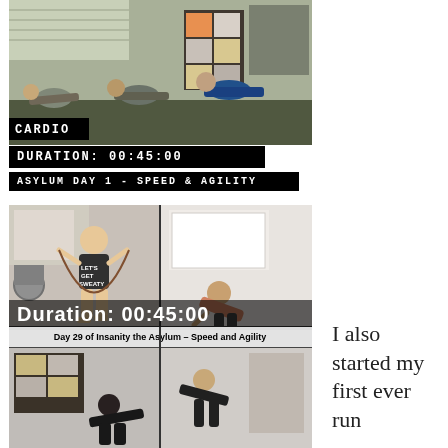[Figure (photo): People doing plank exercises in a home gym. Text overlay 'CARDIO' in black rectangle at bottom left.]
DURATION: 00:45:00
ASYLUM DAY 1 - SPEED & AGILITY
[Figure (photo): Four-panel composite image: top-left shows woman in 'LET'S GET SWEATY' outfit jumping rope, top-right shows woman bent over exhausted, bottom shows two more exercise scenes. Large overlay text reads 'Duration: 00:45:00' and caption 'Day 29 of Insanity the Asylum – Speed and Agility']
I also started my first ever run